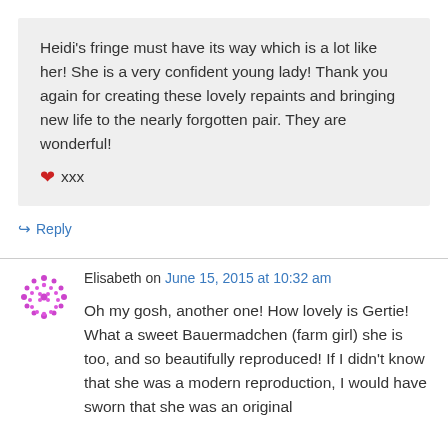Heidi's fringe must have its way which is a lot like her! She is a very confident young lady! Thank you again for creating these lovely repaints and bringing new life to the nearly forgotten pair. They are wonderful! ❤ xxx
↳ Reply
Elisabeth on June 15, 2015 at 10:32 am
Oh my gosh, another one! How lovely is Gertie! What a sweet Bauermadchen (farm girl) she is too, and so beautifully reproduced! If I didn't know that she was a modern reproduction, I would have sworn that she was an original